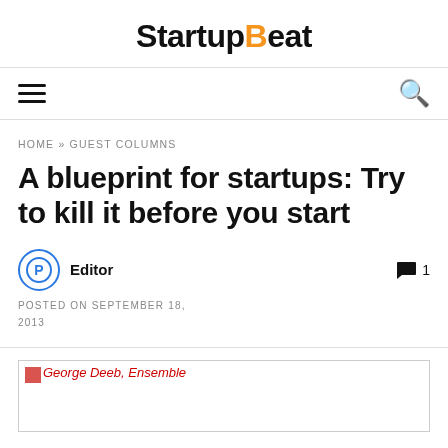StartupBeat
HOME » GUEST COLUMNS
A blueprint for startups: Try to kill it before you start
Editor   💬 1
POSTED ON SEPTEMBER 18, 2013
[Figure (photo): Broken image placeholder with alt text: George Deeb, Ensemble]